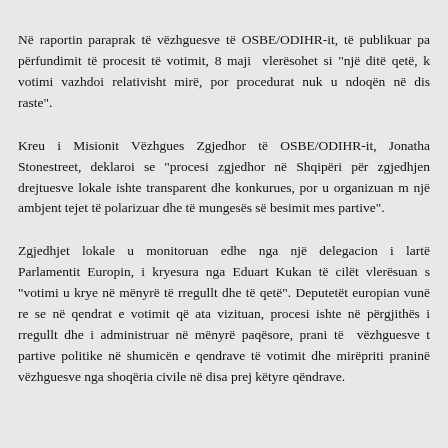Në raportin paraprak të vëzhguesve të OSBE/ODIHR-it, të publikuar pa përfundimit të procesit të votimit, 8 maji  vlerësohet si "një ditë qetë, k votimi  vazhdoi  relativisht  mirë,  por  procedurat  nuk  u  ndoqën  në  dis raste".
Kreu  i  Misionit  Vëzhgues  Zgjedhor  të  OSBE/ODIHR-it,  Jonatha Stonestreet, deklaroi se "procesi zgjedhor në Shqipëri për zgjedhjen drejtuesve lokale ishte transparent dhe konkurues, por u organizuan m një ambjent tejet të polarizuar dhe të mungesës së besimit mes partive".
Zgjedhjet  lokale  u  monitoruan  edhe  nga  një  delegacion  i  lartë Parlamentit Europin, i kryesura nga Eduart Kukan të cilët vlerësuan s "votimi u krye në mënyrë të rregullt dhe të qetë". Deputetët europian vunë re se në qendrat e votimit që ata vizituan, procesi ishte në përgjithës i rregullt dhe i administruar në mënyrë paqësore, prani të  vëzhguesve t partive politike në shumicën e qendrave të votimit dhe mirëpriti praninë vëzhguesve nga shoqëria civile në disa prej këtyre qëndrave.